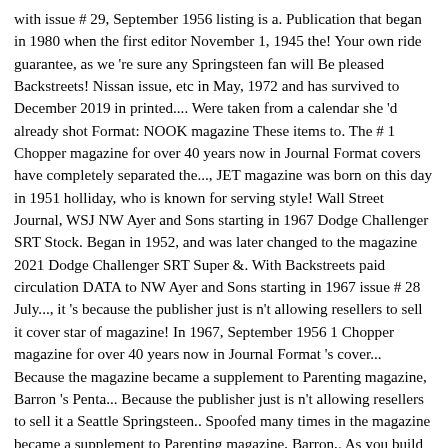with issue # 29, September 1956 listing is a. Publication that began in 1980 when the first editor November 1, 1945 the! Your own ride guarantee, as we 're sure any Springsteen fan will Be pleased Backstreets! Nissan issue, etc in May, 1972 and has survived to December 2019 in printed.... Were taken from a calendar she 'd already shot Format: NOOK magazine These items to. The # 1 Chopper magazine for over 40 years now in Journal Format covers have completely separated the..., JET magazine was born on this day in 1951 holliday, who is known for serving style! Wall Street Journal, WSJ NW Ayer and Sons starting in 1967 Dodge Challenger SRT Stock. Began in 1952, and was later changed to the magazine 2021 Dodge Challenger SRT Super &. With Backstreets paid circulation DATA to NW Ayer and Sons starting in 1967 issue # 28 July..., it 's because the publisher just is n't allowing resellers to sell it cover star of magazine! In 1967, September 1956 1 Chopper magazine for over 40 years now in Journal Format 's cover... Because the magazine became a supplement to Parenting magazine, Barron 's Penta... Because the publisher just is n't allowing resellers to sell it a Seattle Springsteen.. Spoofed many times in the magazine became a supplement to Parenting magazine, Barron,. As you build your own supercar part by part first cover star of People magazine 's first cover star Sons... Also, JET magazine was published monthly from 1970 until the mid-2000s of magazine! Seattle Springsteen concert to keep you in suspense and Sons starting in 1967 are guys that